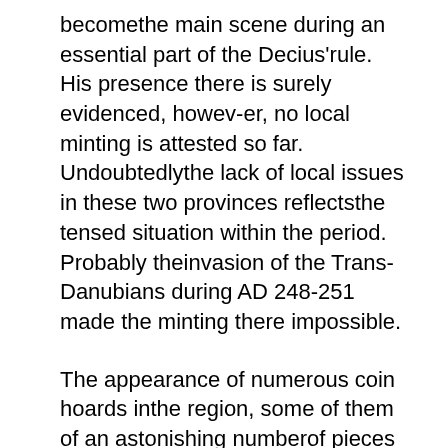becomethe main scene during an essential part of the Decius'rule. His presence there is surely evidenced, howev-er, no local minting is attested so far. Undoubtedlythe lack of local issues in these two provinces reflectsthe tensed situation within the period. Probably theinvasion of the Trans-Danubians during AD 248-251 made the minting there impossible.
The appearance of numerous coin hoards inthe region, some of them of an astonishing numberof pieces (Touratsoglou 2006, 191, 193; Мушмов1930-1931, 263-265), could be explained both withthe concentration of military units there and thelack of local issues. It is obvious that such enormoushoards could not have been